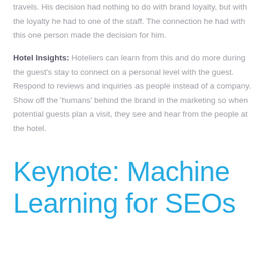travels. His decision had nothing to do with brand loyalty, but with the loyalty he had to one of the staff. The connection he had with this one person made the decision for him.
Hotel Insights: Hoteliers can learn from this and do more during the guest's stay to connect on a personal level with the guest. Respond to reviews and inquiries as people instead of a company. Show off the 'humans' behind the brand in the marketing so when potential guests plan a visit, they see and hear from the people at the hotel.
Keynote: Machine Learning for SEOs